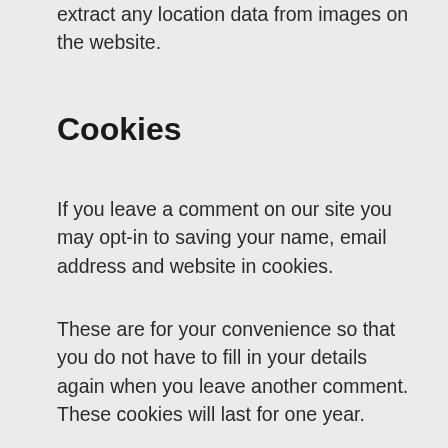extract any location data from images on the website.
Cookies
If you leave a comment on our site you may opt-in to saving your name, email address and website in cookies.
These are for your convenience so that you do not have to fill in your details again when you leave another comment. These cookies will last for one year.